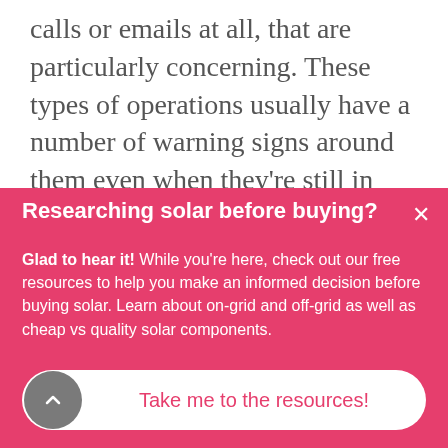calls or emails at all, that are particularly concerning. These types of operations usually have a number of warning signs around them even when they're still in business. Accordingly, a would-be solar owner can keep an eye out for these indicators in their efforts to avoid the bad apples, and find a quality solar installer.
It was the end that S the S...
Researching solar before buying?
Glad to hear it! While you're here, check out our free resources to help you make an informed decision before buying solar. Learn about on-grid and off-grid as well as cheap vs quality solar components.
Take me to the resources!